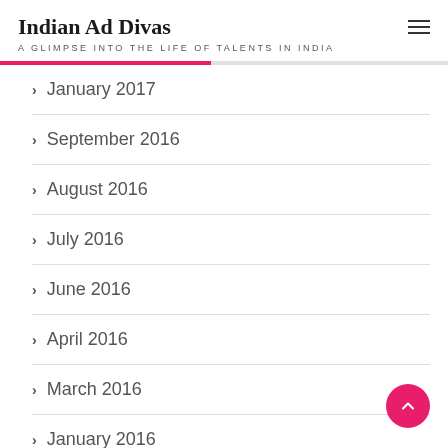Indian Ad Divas — A GLIMPSE INTO THE LIFE OF TALENTS IN INDIA
January 2017
September 2016
August 2016
July 2016
June 2016
April 2016
March 2016
January 2016